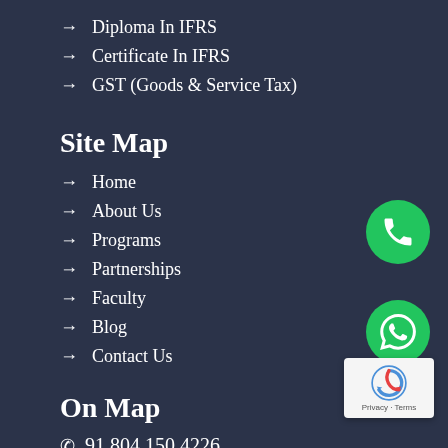Diploma In IFRS
Certificate In IFRS
GST (Goods & Service Tax)
Site Map
Home
About Us
Programs
Partnerships
Faculty
Blog
Contact Us
On Map
91 804 150 4226
91 897 115 8797
[Figure (infographic): Green circular phone call button]
[Figure (infographic): Green circular WhatsApp button]
[Figure (infographic): Google reCAPTCHA badge with Privacy and Terms text]